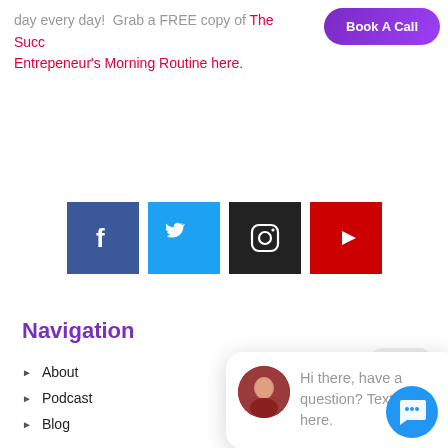day every day!  Grab a FREE copy of The Succ… Entrepeneur's Morning Routine here.
[Figure (screenshot): Book A Call button (purple pill-shaped button, top right)]
[Figure (infographic): Social media icons row: Facebook (blue), Twitter (blue), Instagram (black), YouTube (red)]
Navigation
[Figure (screenshot): Close button widget]
About
Podcast
Blog
Contact
Services
Most Profitable Business Model
[Figure (screenshot): Chat popup widget with avatar photo of woman, text: Hi there, have a question? Text us here.]
[Figure (screenshot): Blue circular chat/message button in lower right]